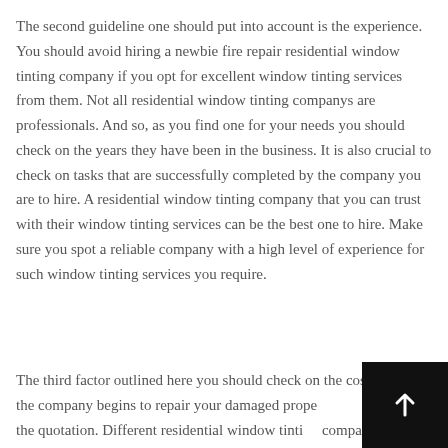The second guideline one should put into account is the experience. You should avoid hiring a newbie fire repair residential window tinting company if you opt for excellent window tinting services from them. Not all residential window tinting companys are professionals. And so, as you find one for your needs you should check on the years they have been in the business. It is also crucial to check on tasks that are successfully completed by the company you are to hire. A residential window tinting company that you can trust with their window tinting services can be the best one to hire. Make sure you spot a reliable company with a high level of experience for such window tinting services you require.
The third factor outlined here you should check on the cost. Before the company begins to repair your damaged prope... should get the quotation. Different residential window tinti... companys will set different service fees. Your budget will also